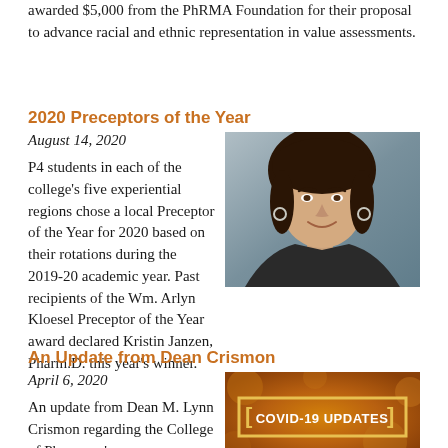awarded $5,000 from the PhRMA Foundation for their proposal to advance racial and ethnic representation in value assessments.
2020 Preceptors of the Year
August 14, 2020
[Figure (photo): Headshot photo of a smiling young woman with long dark hair, wearing hoop earrings, against a grey background]
P4 students in each of the college's five experiential regions chose a local Preceptor of the Year for 2020 based on their rotations during the 2019-20 academic year. Past recipients of the Wm. Arlyn Kloesel Preceptor of the Year award declared Kristin Janzen, Pharm.D. this year's winner.
An Update from Dean Crismon
April 6, 2020
[Figure (photo): COVID-19 UPDATES graphic with orange/amber background with circular virus imagery and bracket-enclosed text]
An update from Dean M. Lynn Crismon regarding the College of Pharmacy's...